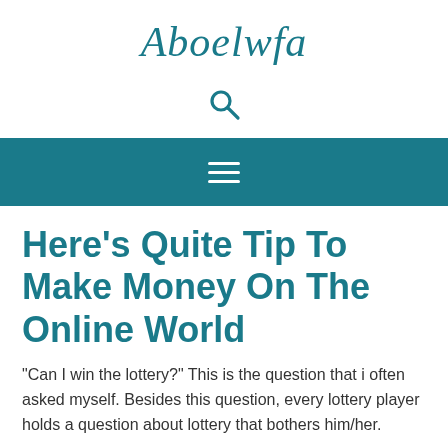Aboelwfa
[Figure (other): Search magnifying glass icon in teal color]
[Figure (other): Hamburger menu icon (three horizontal white lines) on teal navigation bar background]
Here's Quite Tip To Make Money On The Online World
"Can I win the lottery?" This is the question that i often asked myself. Besides this question, every lottery player holds a question about lottery that bothers him/her.